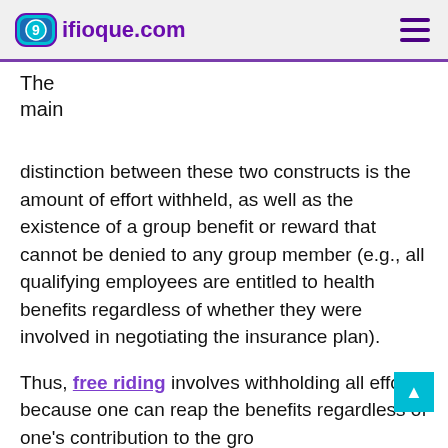9ifioque.com
The main
distinction between these two constructs is the amount of effort withheld, as well as the existence of a group benefit or reward that cannot be denied to any group member (e.g., all qualifying employees are entitled to health benefits regardless of whether they were involved in negotiating the insurance plan).
Thus, free riding involves withholding all effort because one can reap the benefits regardless of one's contribution to the group. Conversely, social loafing involves...